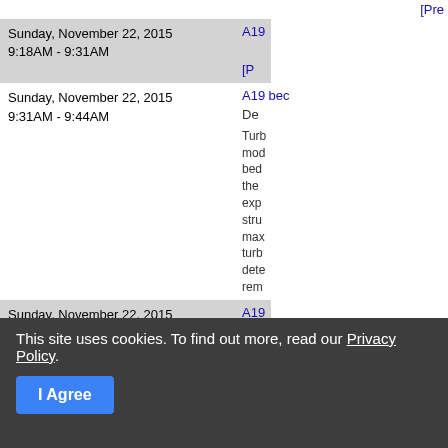[Pre...
Sunday, November 22, 2015 9:18AM - 9:31AM
A19... [P...
Sunday, November 22, 2015 9:31AM - 9:44AM
A19... bec... De...
Turb... mod... bed... the... exp... stru... max... turb... dete... rem...
Sunday, November 22, 2015 9:44AM - 9:57AM
A19... Du...
Dire... dire... hot...
This site uses cookies. To find out more, read our Privacy Policy.
I Agree